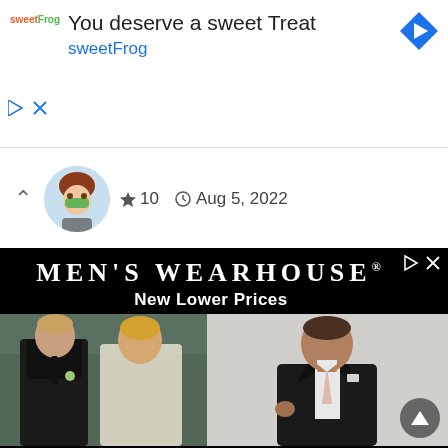[Figure (screenshot): SweetFrog advertisement banner with logo, title 'You deserve a sweet Treat', and brand name 'sweetFrog' in teal, with a blue diamond arrow icon]
[Figure (screenshot): Forum post row with upward chevron, circular avatar of an animated character, star rating 10, and date Aug 5, 2022]
[Figure (photo): Men's Wearhouse advertisement with black background showing brand name and 'New Lower Prices', with two photos: a couple at a wedding and a man in a dark suit with light tie]